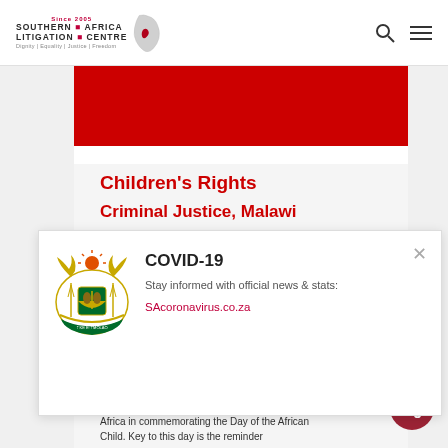Southern Africa Litigation Centre — Since 2005 | Dignity | Equality | Justice | Freedom
[Figure (illustration): Red banner image at top of article page]
Children's Rights
Criminal Justice, Malawi
[Figure (illustration): COVID-19 popup overlay with South African coat of arms. Title: COVID-19. Text: Stay informed with official news & stats: SAacoronavirus.co.za]
THE DAY OF THE AFRICAN CHILD
On the 16th of June every year, Malawi joins Africa in commemorating the Day of the African Child. Key to this day is the reminder